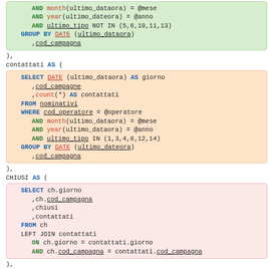Green block: AND month(ultimo_dataora) = @mese AND year(ultimo_dateora) = @anno AND ultimo_tipo NOT IN (5,6,10,11,13) GROUP BY DATE (ultimo_dataora) ,cod_campagna
),
contattati AS (
Orange block: SELECT DATE (ultimo_dataora) AS giorno ,cod_campagne ,count(*) AS contattati FROM nominativi WHERE cod_operatore = @operatore AND month(ultimo_dataora) = @mese AND year(ultimo_dataora) = @anno AND ultimo_tipo IN (1,3,4,8,12,14) GROUP BY DATE (ultimo_dateora) ,cod_campagna
),
CHIUSI AS (
Pink block: SELECT ch.giorno ,ch.cod_campagna ,chiusi ,contattati FROM ch LEFT JOIN contattati ON ch.giorno = contattati.giorno AND ch.cod_campagna = contattati.cod_campagna
),
appuntamenti AS (
Blue block: SELECT DATE (ultimo_dataora) AS giorno ,cod_campagna ,count(*) AS appuntamenti FROM nominativi WHERE cod_operatore = @operatore AND month(ultimo_dataora) = @mese